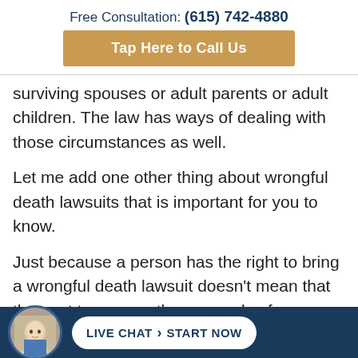Free Consultation: (615) 742-4880
Tap Here to Call Us
surviving spouses or adult parents or adult children. The law has ways of dealing with those circumstances as well.
Let me add one other thing about wrongful death lawsuits that is important for you to know.
Just because a person has the right to bring a wrongful death lawsuit doesn't mean that they get to recover the proceeds of a wrongful death lawsuit.
LIVE CHAT  START NOW